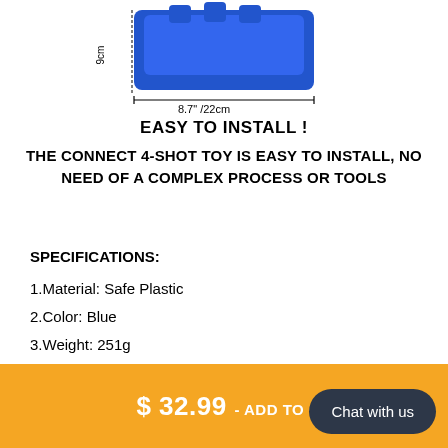[Figure (photo): Partial view of a blue plastic Connect 4-shot toy with measurement annotations showing 8.7" /22cm width]
EASY TO INSTALL !
THE CONNECT 4-SHOT TOY IS EASY TO INSTALL, NO NEED OF A COMPLEX PROCESS OR TOOLS
SPECIFICATIONS:
1.Material: Safe Plastic
2.Color: Blue
3.Weight: 251g
4.Product Dimension: 8.46 x 7.48 x 9.25in
Package List:
$ 32.99 - ADD TO CA
Chat with us